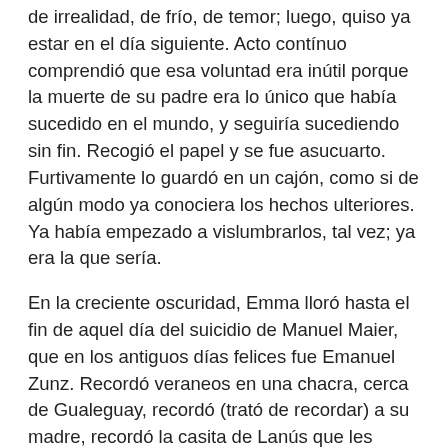de irrealidad, de frío, de temor; luego, quiso ya estar en el día siguiente. Acto contínuo comprendió que esa voluntad era inútil porque la muerte de su padre era lo único que había sucedido en el mundo, y seguiría sucediendo sin fin. Recogió el papel y se fue asucuarto. Furtivamente lo guardó en un cajón, como si de algún modo ya conociera los hechos ulteriores. Ya había empezado a vislumbrarlos, tal vez; ya era la que sería.
En la creciente oscuridad, Emma lloró hasta el fin de aquel día del suicidio de Manuel Maier, que en los antiguos días felices fue Emanuel Zunz. Recordó veraneos en una chacra, cerca de Gualeguay, recordó (trató de recordar) a su madre, recordó la casita de Lanús que les remataron, recordó los amarillos losanges de una ventana, recordó el auto de prisión, el oprobio, recordó los anónimos con el suelto sobre «el desfalco del cajero», recordó (pero eso jamás lo olvidaba) que su padre, la última noche, le había jurado que el ladrón era Loewenthal. Loewenthal, Aarón Loewenthal, antes gerente de la fábrica y ahora uno de los dueños. Emma, desde 1916, guardaba el secreto. A nadie se lo había revelado, ni siquiera a su mejor amiga, Elsa Urstein